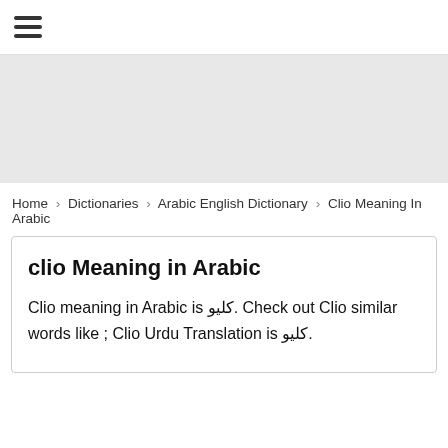☰
[Figure (other): Gray advertisement banner area]
Home › Dictionaries › Arabic English Dictionary › Clio Meaning In Arabic
clio Meaning in Arabic
Clio meaning in Arabic is كليو. Check out Clio similar words like ; Clio Urdu Translation is كليو.